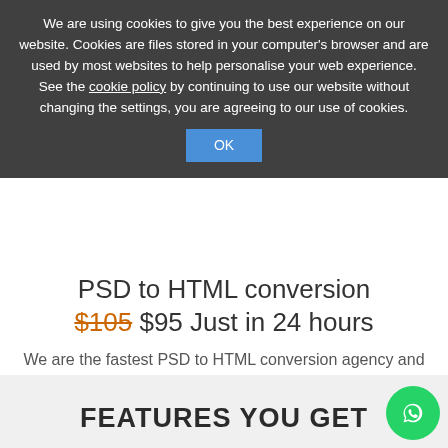We are using cookies to give you the best experience on our website. Cookies are files stored in your computer's browser and are used by most websites to help personalise your web experience. See the cookie policy by continuing to use our website without changing the settings, you are agreeing to our use of cookies.
OK
PSD to HTML conversion
$105 $95 Just in 24 hours
We are the fastest PSD to HTML conversion agency and provide dedicated manager on your project to get the things done quickly.
LETS GET STARTED
FEATURES YOU GET
We become a part of your team, We will work together based upon your guidelines and make the project success for you.